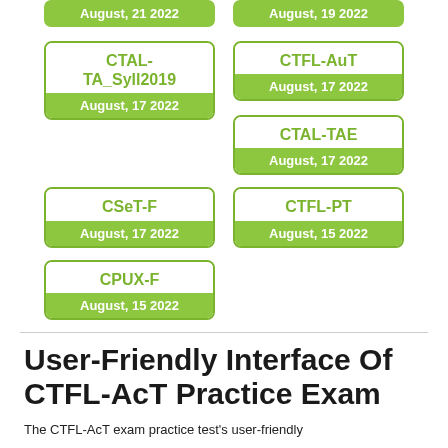[Figure (infographic): Grid of exam certification cards with green borders and green date badges. Top row shows two date pills: August, 21 2022 and August, 19 2022. Below: CTAL-TA_Syll2019 (August, 17 2022), CTFL-AuT (August, 17 2022), CTAL-TAE (August, 17 2022), CSeT-F (August, 17 2022), CTFL-PT (August, 15 2022), CPUX-F (August, 15 2022).]
User-Friendly Interface Of CTFL-AcT Practice Exam
The CTFL-AcT exam practice test's user-friendly